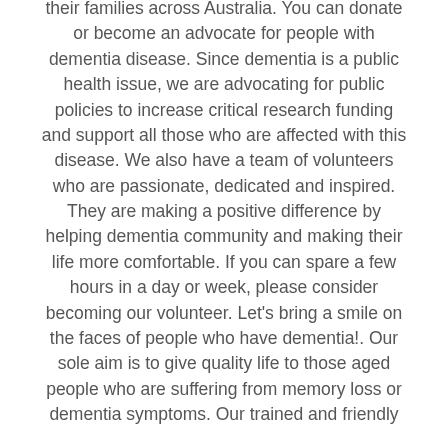their families across Australia. You can donate or become an advocate for people with dementia disease. Since dementia is a public health issue, we are advocating for public policies to increase critical research funding and support all those who are affected with this disease. We also have a team of volunteers who are passionate, dedicated and inspired. They are making a positive difference by helping dementia community and making their life more comfortable. If you can spare a few hours in a day or week, please consider becoming our volunteer. Let's bring a smile on the faces of people who have dementia!. Our sole aim is to give quality life to those aged people who are suffering from memory loss or dementia symptoms. Our trained and friendly